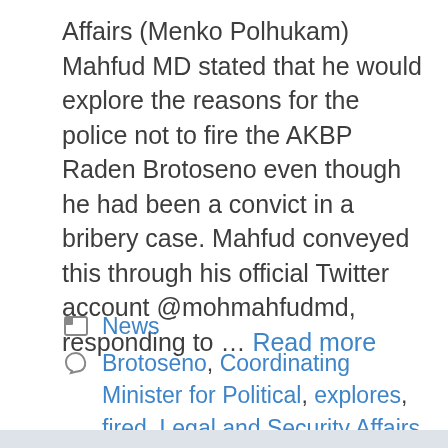Affairs (Menko Polhukam) Mahfud MD stated that he would explore the reasons for the police not to fire the AKBP Raden Brotoseno even though he had been a convict in a bribery case. Mahfud conveyed this through his official Twitter account @mohmahfudmd, responding to … Read more
News
Brotoseno, Coordinating Minister for Political, explores, fired, Legal and Security Affairs, Mahfud, Mahfud MD, police, Raden, raden brotoseno, reasons
Leave a comment